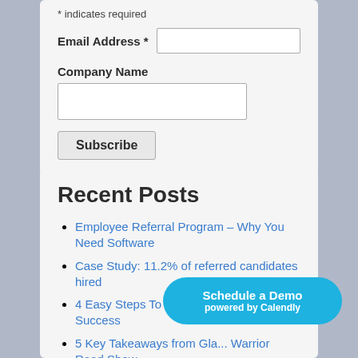* indicates required
Email Address *
Company Name
Subscribe
Recent Posts
Employee Referral Program – Why You Need Software
Case Study: 11.2% of referred candidates hired
4 Easy Steps To Employee Referral Success
5 Key Takeaways from Gla... Warrior Road Show
Schedule a Demo powered by Calendly